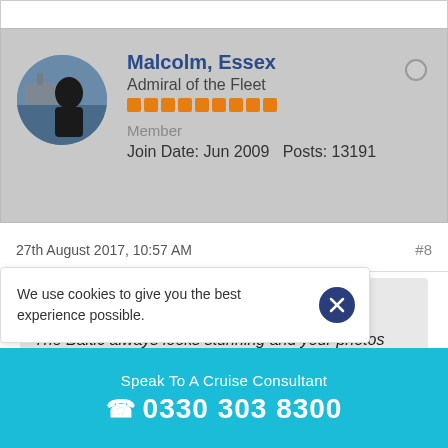[Figure (photo): User profile section with avatar photo (silhouette of person against ship/sea background) and user info for Malcolm, Essex, Admiral of the Fleet, Member, Join Date Jun 2009, Posts 13191]
Malcolm, Essex
Admiral of the Fleet
Member
Join Date: Jun 2009   Posts: 13191
27th August 2017, 10:57 AM
#8
Originally posted by Wilba
The Baltic always looks stunning and your photos confirm it, but somehow I just can't get excited enough to book a cruise there.
We use cookies to give you the best experience possible.
Speak To A Cruise Consultant
0330 303 8300